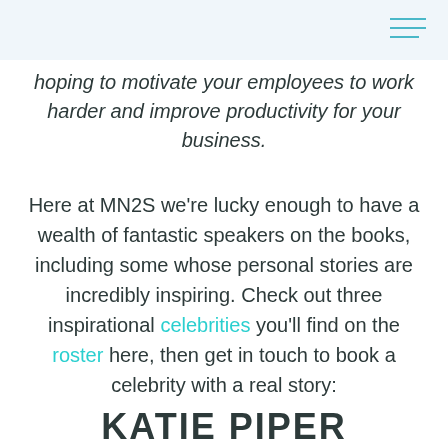hoping to motivate your employees to work harder and improve productivity for your business.
Here at MN2S we're lucky enough to have a wealth of fantastic speakers on the books, including some whose personal stories are incredibly inspiring. Check out three inspirational celebrities you'll find on the roster here, then get in touch to book a celebrity with a real story:
KATIE PIPER